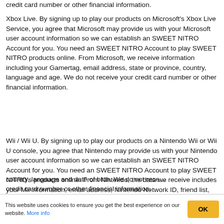credit card number or other financial information.
Xbox Live. By signing up to play our products on Microsoft's Xbox Live Service, you agree that Microsoft may provide us with your Microsoft user account information so we can establish an SWEET NITRO Account for you. You need an SWEET NITRO Account to play SWEET NITRO products online. From Microsoft, we receive information including your Gamertag, email address, state or province, country, language and age. We do not receive your credit card number or other financial information.
Wii / Wii U. By signing up to play our products on a Nintendo Wii or Wii U console, you agree that Nintendo may provide us with your Nintendo user account information so we can establish an SWEET NITRO Account for you. You need an SWEET NITRO Account to play SWEET NITRO's products online. From Nintendo, the data we receive includes your Mii information, email address, Nintendo Network ID, friend list, country, language and date of birth. We do not receive your credit card number or other financial information.
This website uses cookies to ensure you get the best experience on our website. More info